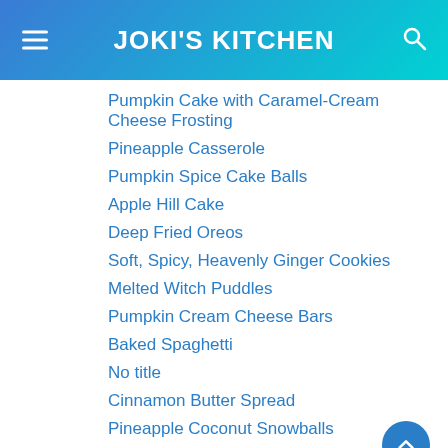JOKI'S KITCHEN
Pumpkin Cake with Caramel-Cream Cheese Frosting
Pineapple Casserole
Pumpkin Spice Cake Balls
Apple Hill Cake
Deep Fried Oreos
Soft, Spicy, Heavenly Ginger Cookies
Melted Witch Puddles
Pumpkin Cream Cheese Bars
Baked Spaghetti
No title
Cinnamon Butter Spread
Pineapple Coconut Snowballs